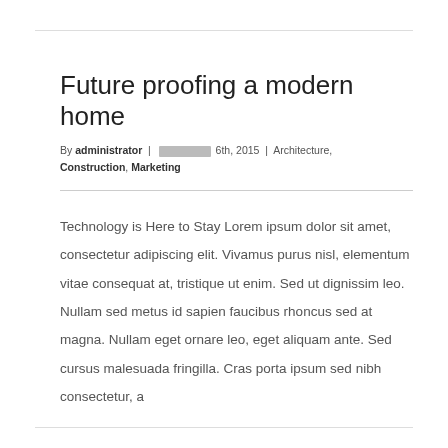Future proofing a modern home
By administrator | ████████ 6th, 2015 | Architecture, Construction, Marketing
Technology is Here to Stay Lorem ipsum dolor sit amet, consectetur adipiscing elit. Vivamus purus nisl, elementum vitae consequat at, tristique ut enim. Sed ut dignissim leo. Nullam sed metus id sapien faucibus rhoncus sed at magna. Nullam eget ornare leo, eget aliquam ante. Sed cursus malesuada fringilla. Cras porta ipsum sed nibh consectetur, a